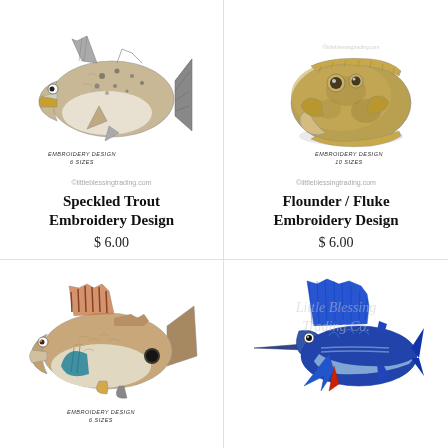[Figure (illustration): Speckled Trout embroidery design illustration - fish with open mouth, spotted pattern, dorsal fin]
EMBROIDERY DESIGN 6 SIZES
©littleblessingtrading.com
Speckled Trout Embroidery Design
$ 6.00
[Figure (illustration): Flounder / Fluke embroidery design illustration - flat fish facing forward, brownish color]
EMBROIDERY DESIGN 10 SIZES
©littleblessingtrading.com
Flounder / Fluke Embroidery Design
$ 6.00
[Figure (illustration): Red drum / redfish embroidery design illustration - fish with striped dorsal fin, black spot on tail]
EMBROIDERY DESIGN 6 SIZES
[Figure (illustration): Sailfish / marlin embroidery design illustration - blue sailfish leaping, prominent bill and sail fin]
Little Blessing Trading Co. watermark